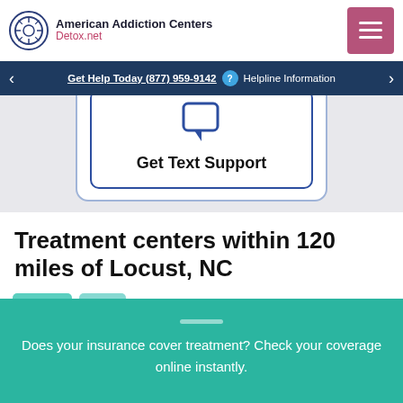American Addiction Centers Detox.net
Get Help Today (877) 959-9142  Helpline Information
[Figure (screenshot): Get Text Support card with chat bubble icon inside a bordered white card]
Treatment centers within 120 miles of Locust, NC
[Figure (screenshot): Partial view of a treatment center listing card (Asheville Recovery Center) with teal thumbnail images]
Does your insurance cover treatment? Check your coverage online instantly.